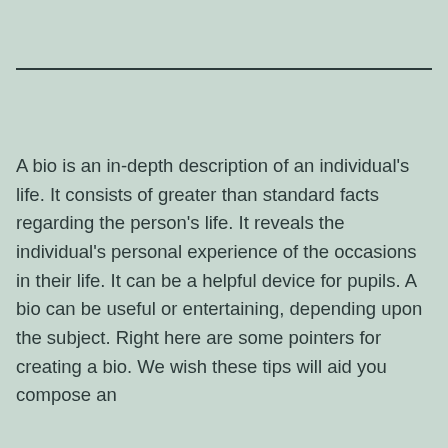A bio is an in-depth description of an individual's life. It consists of greater than standard facts regarding the person's life. It reveals the individual's personal experience of the occasions in their life. It can be a helpful device for pupils. A bio can be useful or entertaining, depending upon the subject. Right here are some pointers for creating a bio. We wish these tips will aid you compose an